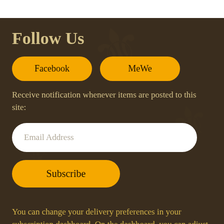Follow Us
Facebook   MeWe
Receive notification whenever items are posted to this site:
Email Address
Subscribe
You can change your delivery preferences in your subscription dashboard. On the dashboard, you can adjust how often you are notified of changes to [a]